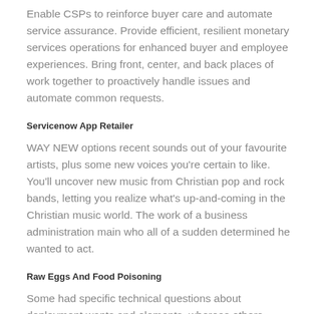Enable CSPs to reinforce buyer care and automate service assurance. Provide efficient, resilient monetary services operations for enhanced buyer and employee experiences. Bring front, center, and back places of work together to proactively handle issues and automate common requests.
Servicenow App Retailer
WAY NEW options recent sounds out of your favourite artists, plus some new voices you’re certain to like. You'll uncover new music from Christian pop and rock bands, letting you realize what’s up-and-coming in the Christian music world. The work of a business administration main who all of a sudden determined he wanted to act.
Raw Eggs And Food Poisoning
Some had specific technical questions about deployment wants and elements, whereas others questioned what their choices had been for deployment, and what had been